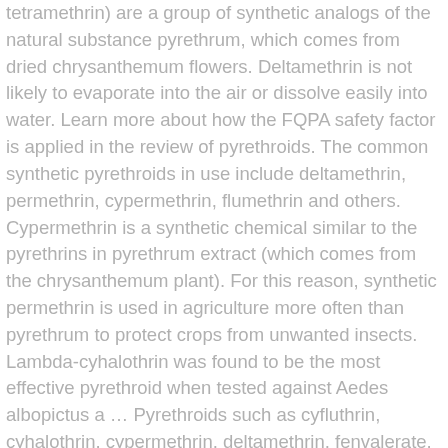tetramethrin) are a group of synthetic analogs of the natural substance pyrethrum, which comes from dried chrysanthemum flowers. Deltamethrin is not likely to evaporate into the air or dissolve easily into water. Learn more about how the FQPA safety factor is applied in the review of pyrethroids. The common synthetic pyrethroids in use include deltamethrin, permethrin, cypermethrin, flumethrin and others. Cypermethrin is a synthetic chemical similar to the pyrethrins in pyrethrum extract (which comes from the chrysanthemum plant). For this reason, synthetic permethrin is used in agriculture more often than pyrethrum to protect crops from unwanted insects. Lambda-cyhalothrin was found to be the most effective pyrethroid when tested against Aedes albopictus a … Pyrethroids such as cyfluthrin, cyhalothrin, cypermethrin, deltamethrin, fenvalerate, phenothrin, and permethrin can be metabolized resulting in the formation of halosubstituted chrysanthemic and . They were onto something. any last words?lolz no spam i am 100% honest here. Deltamethrin